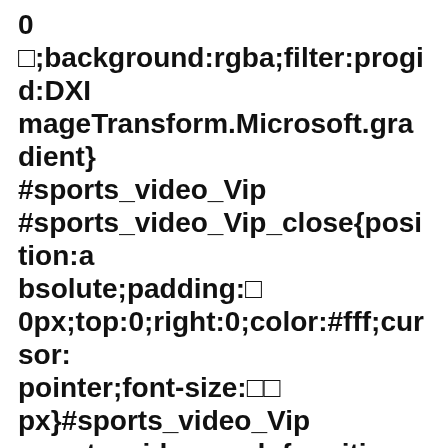0 □;background:rgba;filter:progid:DXImageTransform.Microsoft.gradient}#sports_video_Vip #sports_video_Vip_close{position:absolute;padding:□ 0px;top:0;right:0;color:#fff;cursor:pointer;font-size:□□ px}#sports_video_Vip .sports_video_code{position:absolute;width:□□□px;padding-top:□□□ px;text-align:center;background:url no-repeat;top:□□px;right:□ 0px}#sports_video_Vip .sports_video_content{color:#b□b□ b□;width:□□0px;margin-left:□